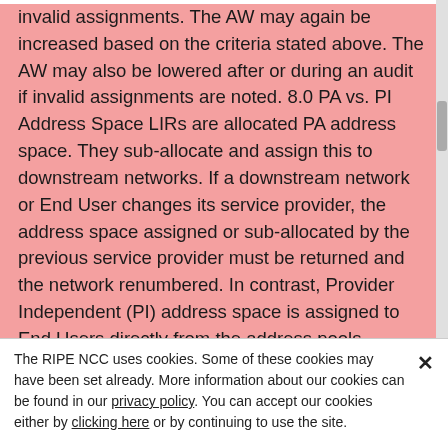invalid assignments. The AW may again be increased based on the criteria stated above. The AW may also be lowered after or during an audit if invalid assignments are noted. 8.0 PA vs. PI Address Space LIRs are allocated PA address space. They sub-allocate and assign this to downstream networks. If a downstream network or End User changes its service provider, the address space assigned or sub-allocated by the previous service provider must be returned and the network renumbered. In contrast, Provider Independent (PI) address space is assigned to End Users directly from the address pools managed directly by the RIPE NCC. PI space cannot be re-assigned or further assigned to other parties. PI address space can only remain
The RIPE NCC uses cookies. Some of these cookies may have been set already. More information about our cookies can be found in our privacy policy. You can accept our cookies either by clicking here or by continuing to use the site.